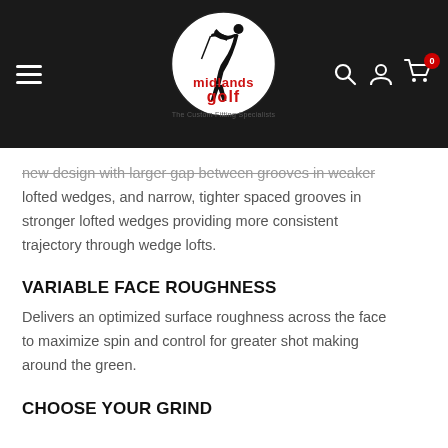[Figure (logo): Midlands Golf logo — white circular badge with golfer silhouette, red 'midlands golf' text, 'The Custom Fitting Specialists' tagline, on black navigation bar]
new design with larger gap between grooves in weaker lofted wedges, and narrow, tighter spaced grooves in stronger lofted wedges providing more consistent trajectory through wedge lofts.
VARIABLE FACE ROUGHNESS
Delivers an optimized surface roughness across the face to maximize spin and control for greater shot making around the green.
CHOOSE YOUR GRIND